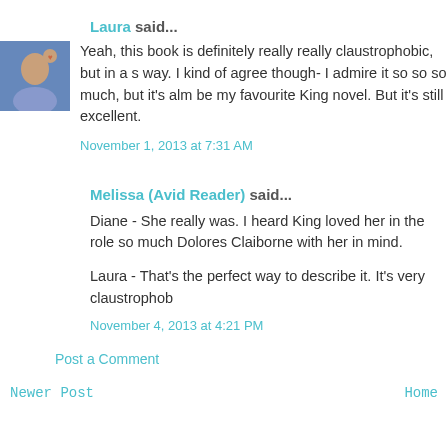Laura said...
[Figure (photo): Small avatar photo of a person]
Yeah, this book is definitely really really claustrophobic, but in a s way. I kind of agree though- I admire it so so so much, but it's alm be my favourite King novel. But it's still excellent.
November 1, 2013 at 7:31 AM
Melissa (Avid Reader) said...
Diane - She really was. I heard King loved her in the role so much Dolores Claiborne with her in mind.
Laura - That's the perfect way to describe it. It's very claustrophob
November 4, 2013 at 4:21 PM
Post a Comment
Newer Post
Home